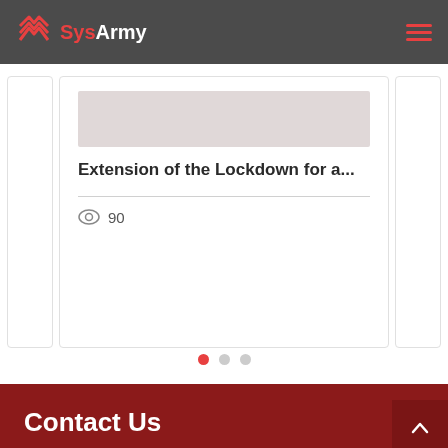SysArmy
Extension of the Lockdown for a...
90
Contact Us
Tel: +603-9171 1562
Fax: +603-9173 7600
info@sysarmy.net
Copyright © 2021 SysArmy Sdn Bhd (1122083-K)
Our Services